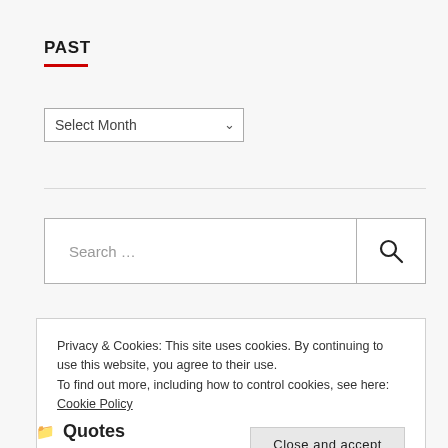PAST
[Figure (screenshot): Dropdown select box labeled 'Select Month' with a chevron arrow on the right]
[Figure (screenshot): Search input box with placeholder text 'Search ...' and a magnifying glass icon button on the right]
Privacy & Cookies: This site uses cookies. By continuing to use this website, you agree to their use. To find out more, including how to control cookies, see here: Cookie Policy
Close and accept
Quotes